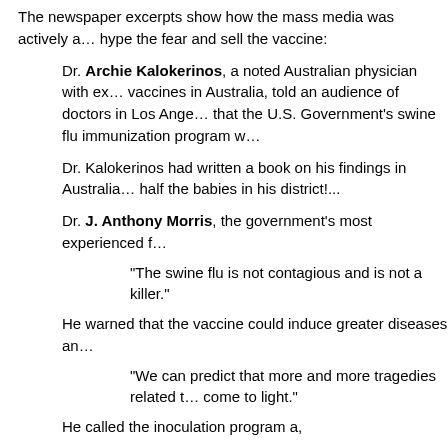The newspaper excerpts show how the mass media was actively attempting to hype the fear and sell the vaccine:
Dr. Archie Kalokerinos, a noted Australian physician with experience with vaccines in Australia, told an audience of doctors in Los Angeles that the U.S. Government's swine flu immunization program w...
Dr. Kalokerinos had written a book on his findings in Australia... half the babies in his district!...
Dr. J. Anthony Morris, the government's most experienced f...
"The swine flu is not contagious and is not a killer."
He warned that the vaccine could induce greater diseases ar...
"We can predict that more and more tragedies related t... come to light."
He called the inoculation program a,
"potential virological nightmare."
When Dr. Morris released a public warning to the Washington... 1976, government agents entered his laboratory,
killed all animals he used in vaccine research